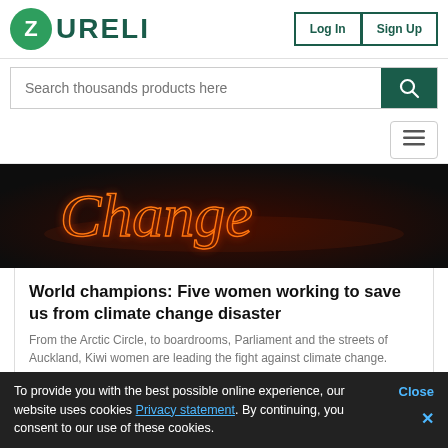ZURELI — Log In | Sign Up
Search thousands products here
[Figure (photo): Neon sign in red/orange cursive lettering on dark background showing the word 'Change']
World champions: Five women working to save us from climate change disaster
From the Arctic Circle, to boardrooms, Parliament and the streets of Auckland, Kiwi women are leading the fight against climate change.
To provide you with the best possible online experience, our website uses cookies Privacy statement. By continuing, you consent to our use of these cookies.